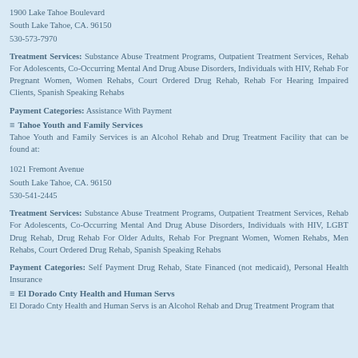1900 Lake Tahoe Boulevard
South Lake Tahoe, CA. 96150
530-573-7970
Treatment Services: Substance Abuse Treatment Programs, Outpatient Treatment Services, Rehab For Adolescents, Co-Occurring Mental And Drug Abuse Disorders, Individuals with HIV, Rehab For Pregnant Women, Women Rehabs, Court Ordered Drug Rehab, Rehab For Hearing Impaired Clients, Spanish Speaking Rehabs
Payment Categories: Assistance With Payment
Tahoe Youth and Family Services
Tahoe Youth and Family Services is an Alcohol Rehab and Drug Treatment Facility that can be found at:
1021 Fremont Avenue
South Lake Tahoe, CA. 96150
530-541-2445
Treatment Services: Substance Abuse Treatment Programs, Outpatient Treatment Services, Rehab For Adolescents, Co-Occurring Mental And Drug Abuse Disorders, Individuals with HIV, LGBT Drug Rehab, Drug Rehab For Older Adults, Rehab For Pregnant Women, Women Rehabs, Men Rehabs, Court Ordered Drug Rehab, Spanish Speaking Rehabs
Payment Categories: Self Payment Drug Rehab, State Financed (not medicaid), Personal Health Insurance
El Dorado Cnty Health and Human Servs
El Dorado Cnty Health and Human Servs is an Alcohol Rehab and Drug Treatment Program that